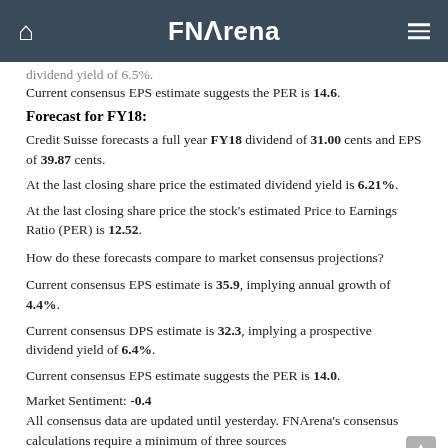FNArena
dividend yield of 6.5%.
Current consensus EPS estimate suggests the PER is 14.6.
Forecast for FY18:
Credit Suisse forecasts a full year FY18 dividend of 31.00 cents and EPS of 39.87 cents.
At the last closing share price the estimated dividend yield is 6.21%.
At the last closing share price the stock's estimated Price to Earnings Ratio (PER) is 12.52.
How do these forecasts compare to market consensus projections?
Current consensus EPS estimate is 35.9, implying annual growth of 4.4%.
Current consensus DPS estimate is 32.3, implying a prospective dividend yield of 6.4%.
Current consensus EPS estimate suggests the PER is 14.0.
Market Sentiment: -0.4
All consensus data are updated until yesterday. FNArena's consensus calculations require a minimum of three sources